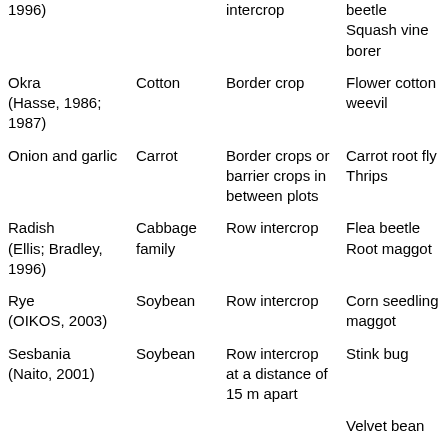| Companion plant | Main crop | Cropping system | Pest controlled |
| --- | --- | --- | --- |
| (…, …); …, 1996) |  | intercrop | beetle
Squash vine borer |
| Okra (Hasse, 1986; 1987) | Cotton | Border crop | Flower cotton weevil |
| Onion and garlic | Carrot | Border crops or barrier crops in between plots | Carrot root fly
Thrips |
| Radish (Ellis; Bradley, 1996) | Cabbage family | Row intercrop | Flea beetle
Root maggot |
| Rye (OIKOS, 2003) | Soybean | Row intercrop | Corn seedling maggot |
| Sesbania (Naito, 2001) | Soybean | Row intercrop at a distance of 15 m apart | Stink bug |
|  |  |  | Velvet bean |